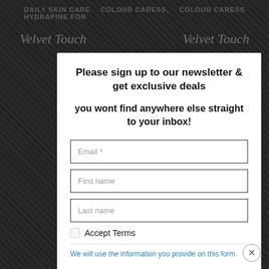[Figure (screenshot): Background of a website page with dark diagonal stripe texture, partially visible navigation text including 'DAILY SKIN CARE', 'HYDRAPINE FOR', 'COLOUR CARESS', 'Velvet Touch', and some link text in red and body text.]
Please sign up to our newsletter & get exclusive deals
you wont find anywhere else straight to your inbox!
Email *
First name
Last name
Accept Terms
We will use the information you provide on this form